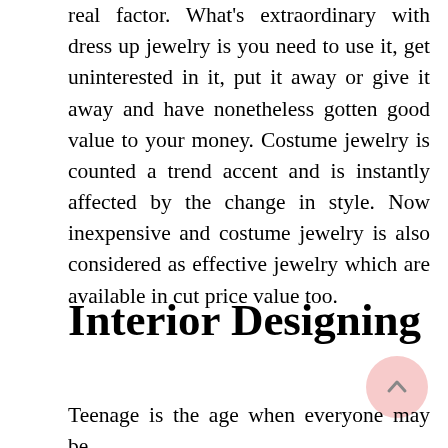real factor. What's extraordinary with dress up jewelry is you need to use it, get uninterested in it, put it away or give it away and have nonetheless gotten good value to your money. Costume jewelry is counted a trend accent and is instantly affected by the change in style. Now inexpensive and costume jewelry is also considered as effective jewelry which are available in cut price value too.
Interior Designing
Teenage is the age when everyone may be